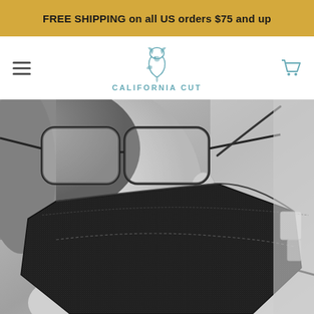FREE SHIPPING on all US orders $75 and up
[Figure (logo): California Cut brand logo — mermaid/seahorse figure above text 'CALIFORNIA CUT' in teal]
[Figure (photo): Black and white close-up photo of a person wearing a black KN95-style face mask with glasses, textured fabric mask shown in detail]